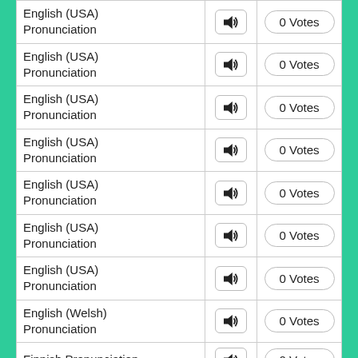| Language | Audio | Votes |
| --- | --- | --- |
| English (USA) Pronunciation | ▶ | 0 Votes |
| English (USA) Pronunciation | ▶ | 0 Votes |
| English (USA) Pronunciation | ▶ | 0 Votes |
| English (USA) Pronunciation | ▶ | 0 Votes |
| English (USA) Pronunciation | ▶ | 0 Votes |
| English (USA) Pronunciation | ▶ | 0 Votes |
| English (USA) Pronunciation | ▶ | 0 Votes |
| English (Welsh) Pronunciation | ▶ | 0 Votes |
| Finnish Pronunciation | ▶ | 0 Votes |
| French (France) Pronunciation | ▶ | 0 Votes |
| French (France) | ▶ | 0 Votes |